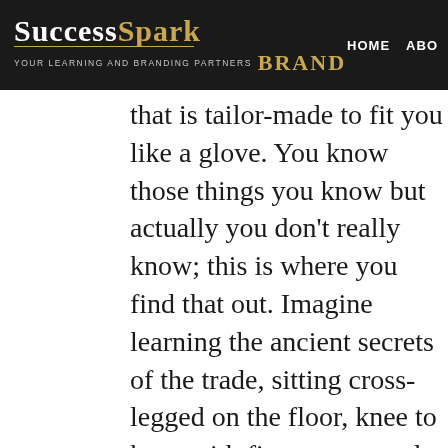SuccessSpark Brand — Your Learning and Branding Partners | HOME | ABO
that is tailor-made to fit you like a glove. You know those things you know but actually you don't really know; this is where you find that out. Imagine learning the ancient secrets of the trade, sitting cross-legged on the floor, knee to knee with five or so people with similar